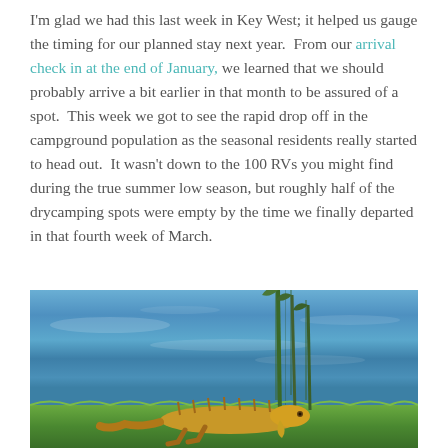I'm glad we had this last week in Key West; it helped us gauge the timing for our planned stay next year.  From our arrival check in at the end of January, we learned that we should probably arrive a bit earlier in that month to be assured of a spot.  This week we got to see the rapid drop off in the campground population as the seasonal residents really started to head out.  It wasn't down to the 100 RVs you might find during the true summer low season, but roughly half of the drycamping spots were empty by the time we finally departed in that fourth week of March.
[Figure (photo): Photograph of an iguana resting on green grass at the edge of a blue water body, with green reeds/plants in the background.]